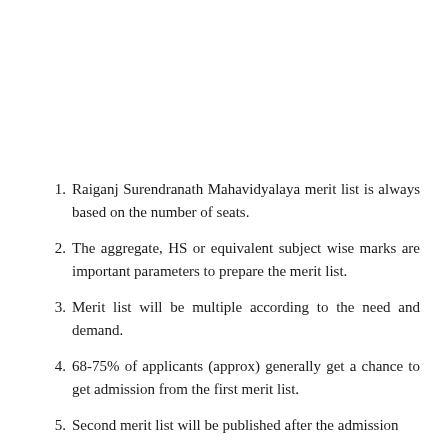Raiganj Surendranath Mahavidyalaya merit list is always based on the number of seats.
The aggregate, HS or equivalent subject wise marks are important parameters to prepare the merit list.
Merit list will be multiple according to the need and demand.
68-75% of applicants (approx) generally get a chance to get admission from the first merit list.
Second merit list will be published after the admission